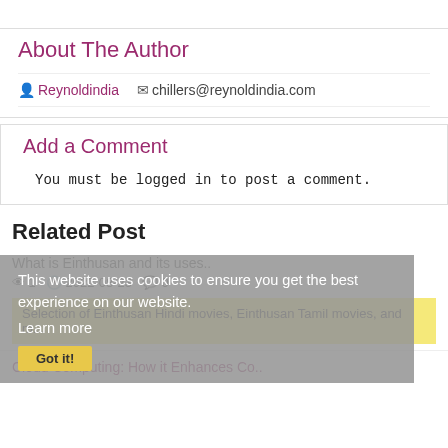About The Author
Reynoldindia   chillers@reynoldindia.com
Add a Comment
You must be logged in to post a comment.
Related Post
This website uses cookies to ensure you get the best experience on our website.
Learn more
What is Einthusan and its uses..
👁 1   🕐 2022-08-23   💬 0
Selection of Einthusan Hindi movies, Einthusan Tamil movies, and m...
Got it!
Cloud Computing: How it Enhances Co..